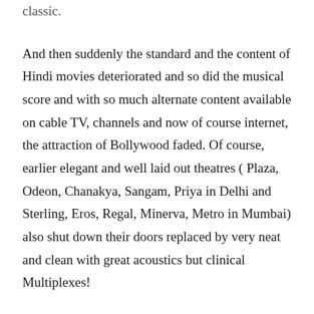classic.
And then suddenly the standard and the content of Hindi movies deteriorated and so did the musical score and with so much alternate content available on cable TV, channels and now of course internet, the attraction of Bollywood faded. Of course, earlier elegant and well laid out theatres ( Plaza, Odeon, Chanakya, Sangam, Priya in Delhi and Sterling, Eros, Regal, Minerva, Metro in Mumbai) also shut down their doors replaced by very neat and clean with great acoustics but clinical Multiplexes!
Does it mean, I have no interest in any Bollywood movie? No, exception is always there. There’s one film maker for whose movies I wait eagerly, for his movies are based on rock solid scripts on which he spends lots